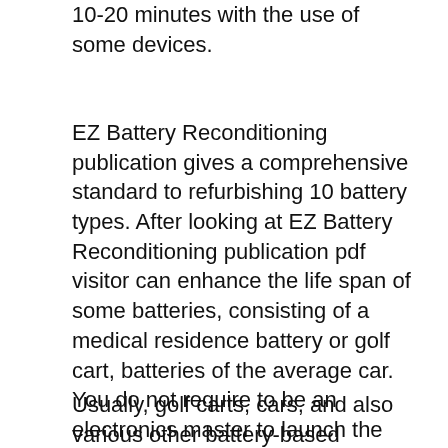10-20 minutes with the use of some devices.
EZ Battery Reconditioning publication gives a comprehensive standard to refurbishing 10 battery types. After looking at EZ Battery Reconditioning publication pdf visitor can enhance the life span of some batteries, consisting of a medical residence battery or golf cart, batteries of the average car. You do not require to be an electronics master to launch the process as well as supply a brand-new life to the batteries.
Usually, golf carts, cars, and also various other battery-based devices run on lead-acid